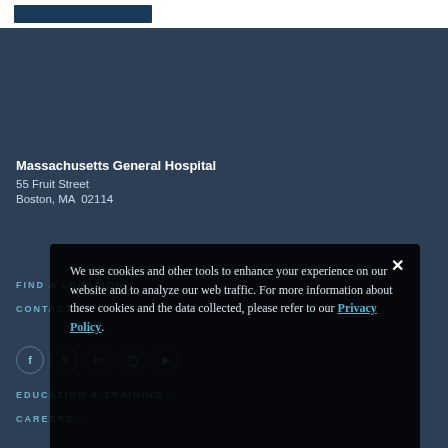[Figure (logo): Massachusetts General Hospital logo box in top white bar]
Massachusetts General Hospital
55 Fruit Street
Boston, MA  02114
FIND A LOCATION ›
CONTACT US ›
[Figure (illustration): Social media icons: Facebook, Twitter, LinkedIn, Instagram, YouTube — circular outlines]
EDUCATION & TRAINING ›
CAREERS ›
We use cookies and other tools to enhance your experience on our website and to analyze our web traffic. For more information about these cookies and the data collected, please refer to our Privacy Policy.